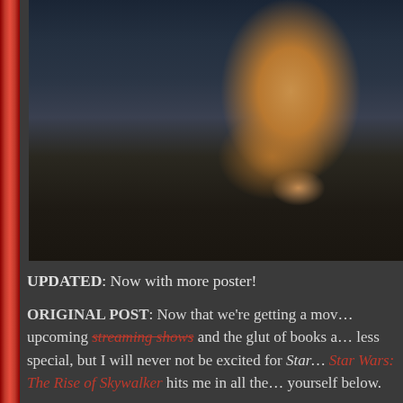[Figure (photo): Movie still from Star Wars: The Rise of Skywalker showing a character with warm skin tones against a dark sci-fi background with teal/blue-green elements]
UPDATED: Now with more poster!
ORIGINAL POST: Now that we're getting a movie, upcoming streaming shows and the glut of books and less special, but I will never not be excited for Star Wars: The Rise of Skywalker hits me in all the yourself below.